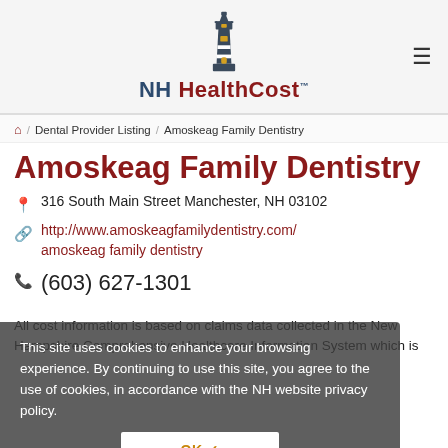[Figure (logo): NH HealthCost logo with lighthouse icon and text 'NH HealthCost TM']
Amoskeag Family Dentistry
316 South Main Street Manchester, NH 03102
http://www.amoskeagfamilydentistry.com/amoskeag family dentistry
(603) 627-1301
This site uses cookies to enhance your browsing experience. By continuing to use this site, you agree to the use of cookies, in accordance with the NH website privacy policy.
OK ✓
All cost information is based on claims data collected in the New Hampshire Comprehensive Healthcare Information System which is